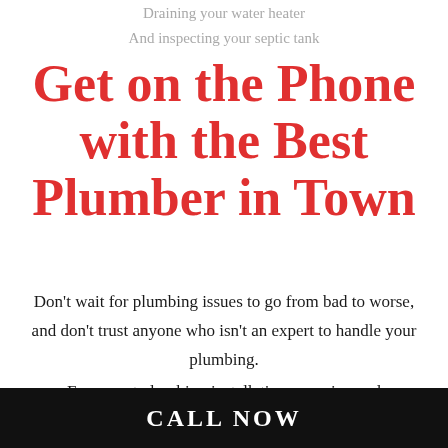Draining your water heater
And inspecting your septic tank
Get on the Phone with the Best Plumber in Town
Don't wait for plumbing issues to go from bad to worse, and don't trust anyone who isn't an expert to handle your plumbing.
For expert plumbing installations, repairs, and maintenance get in touch with Bailey Family
CALL NOW